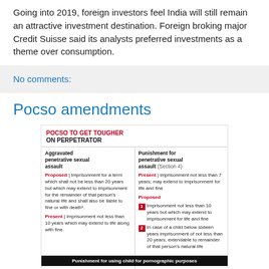Going into 2019, foreign investors feel India will still remain an attractive investment destination. Foreign broking major Credit Suisse said its analysts preferred investments as a theme over consumption.
No comments:
Pocso amendments
[Figure (infographic): Infographic titled 'POCSO TO GET TOUGHER ON PERPETRATOR' showing proposed vs present punishments for aggravated penetrative sexual assault and punishment for penetrative sexual assault (Section 4), plus a footer row about punishment for using child for pornographic purposes.]